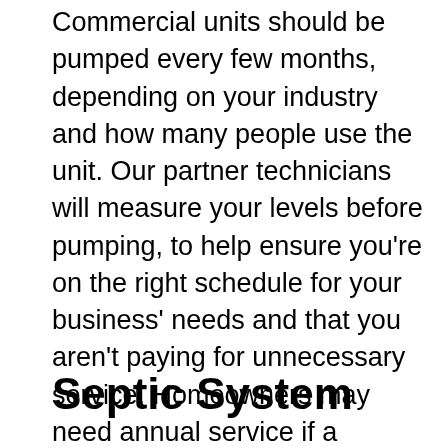Commercial units should be pumped every few months, depending on your industry and how many people use the unit. Our partner technicians will measure your levels before pumping, to help ensure you're on the right schedule for your business' needs and that you aren't paying for unnecessary service. Homeowners may need annual service if a garbage disposal is in use, or pumping every 3-5 years otherwise. Our partner technicians work diligently, so you can get on with your day faster, but they also keep an eye open for trouble, to help catch small issues with the unit before they become real problems.
Septic System